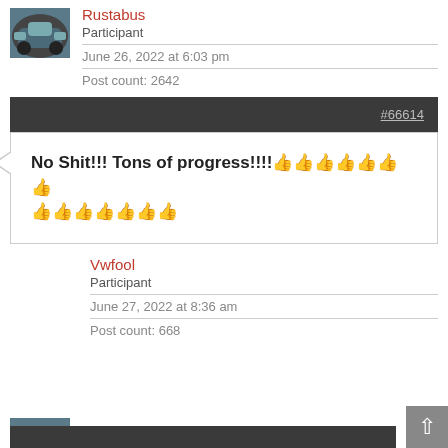[Figure (photo): Avatar photo of a blue VW Beetle car]
Rustabus
Participant
June 26, 2022 at 6:03 pm
Post count: 2642
#66614
No Shit!!! Tons of progress!!!! 👍👍👍👍👍👍👍👍👍👍👍👍👍👍
Vwfool
Participant
June 27, 2022 at 8:36 am
Post count: 668